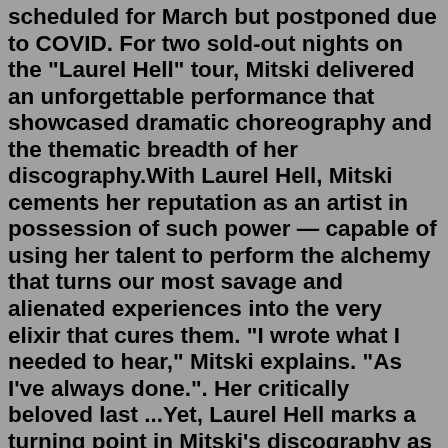scheduled for March but postponed due to COVID. For two sold-out nights on the "Laurel Hell" tour, Mitski delivered an unforgettable performance that showcased dramatic choreography and the thematic breadth of her discography.With Laurel Hell, Mitski cements her reputation as an artist in possession of such power — capable of using her talent to perform the alchemy that turns our most savage and alienated experiences into the very elixir that cures them. "I wrote what I needed to hear," Mitski explains. "As I've always done.". Her critically beloved last ...Yet, Laurel Hell marks a turning point in Mitski's discography as she takes on a new feeling: the zeitgeist of today. Much of the love for Mitski today comes from the waxing melancholy of her lyrics, evoking a sense of bittersweet nostalgia. The music of a young Asian woman looking wistfully into the past is rare representation.Explore Mitski's discography including top tracks, albums, and reviews. Learn all about Mitski on AllMusic. happy valentines day but remember it matters not what you've done, but what